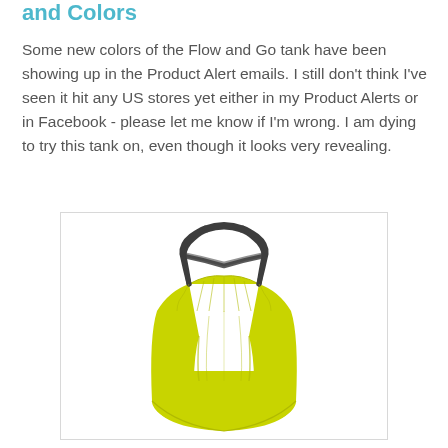and Colors
Some new colors of the Flow and Go tank have been showing up in the Product Alert emails. I still don't think I've seen it hit any US stores yet either in my Product Alerts or in Facebook - please let me know if I'm wrong. I am dying to try this tank on, even though it looks very revealing.
[Figure (photo): Yellow-green Lululemon Flow and Go tank top shown from the back, featuring crossing dark straps forming an X pattern across the open back, with a flowy silhouette against a white background.]